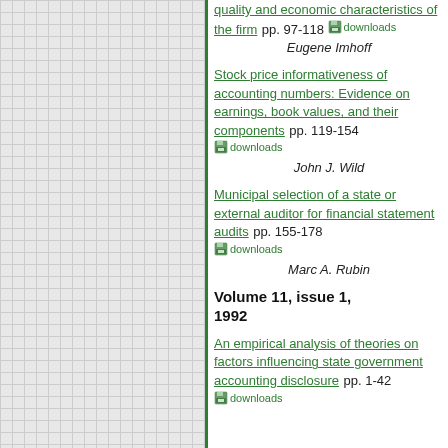[Figure (other): Left panel with grid/graph paper background and green border]
quality and economic characteristics of the firm pp. 97-118 downloads
Eugene Imhoff
Stock price informativeness of accounting numbers: Evidence on earnings, book values, and their components pp. 119-154 downloads
John J. Wild
Municipal selection of a state or external auditor for financial statement audits pp. 155-178 downloads
Marc A. Rubin
Volume 11, issue 1, 1992
An empirical analysis of theories on factors influencing state government accounting disclosure pp. 1-42 downloads